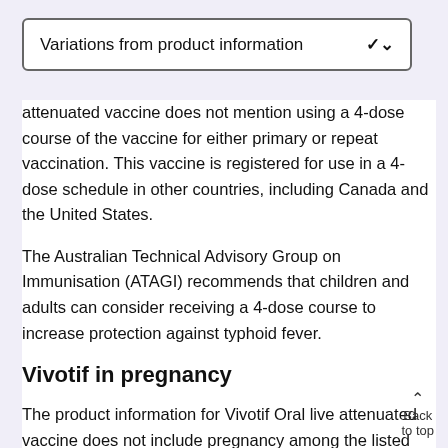Variations from product information
attenuated vaccine does not mention using a 4-dose course of the vaccine for either primary or repeat vaccination. This vaccine is registered for use in a 4-dose schedule in other countries, including Canada and the United States.
The Australian Technical Advisory Group on Immunisation (ATAGI) recommends that children and adults can consider receiving a 4-dose course to increase protection against typhoid fever.
Vivotif in pregnancy
The product information for Vivotif Oral live attenuated vaccine does not include pregnancy among the listed contraindications.